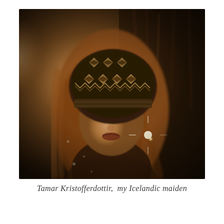[Figure (photo): Sepia-toned, dreamlike portrait of a young girl wearing a patterned knit hat with diamond and zigzag designs. She has long reddish-brown hair and appears to be looking downward with eyes nearly closed. The background is dark with warm amber tones on the left side suggesting a light source. There is a bright lens flare / light burst on the right center of the image. The overall style is artistic and nostalgic, resembling vintage or Pictorialist photography.]
Tamar Kristofferdottir,  my Icelandic maiden